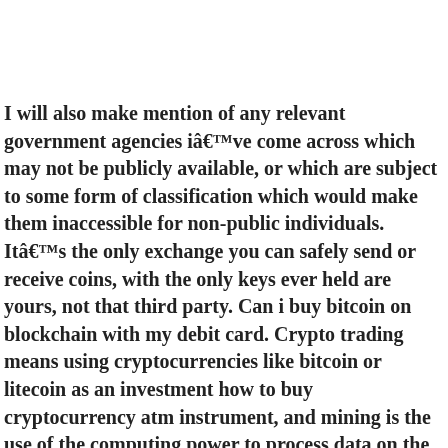I will also make mention of any relevant government agencies iâve come across which may not be publicly available, or which are subject to some form of classification which would make them inaccessible for non-public individuals. Itâs the only exchange you can safely send or receive coins, with the only keys ever held are yours, not that third party. Can i buy bitcoin on blockchain with my debit card. Crypto trading means using cryptocurrencies like bitcoin or litecoin as an investment how to buy cryptocurrency atm instrument, and mining is the use of the computing power to process data on the network (in other words, to add blocks to the blockchain, which is a digital database that contains every previous transaction in the system) to validate new blocks. There are over a thousand stock exchanges in pakistan that trade over 100 trillion